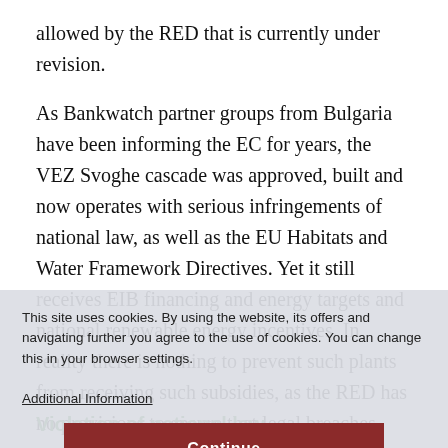allowed by the RED that is currently under revision.
As Bankwatch partner groups from Bulgaria have been informing the EC for years, the VEZ Svoghe cascade was approved, built and now operates with serious infringements of national law, as well as the EU Habitats and Water Framework Directives. Yet it still receives EIB financing and energy targets and national renewable energy incentives. In reality there is nothing to prevent such plants from receiving such subsidies, as the RED has no provisions to ensure that legal breaches result in a halt to incentives.
This site uses cookies. By using the website, its offers and navigating further you agree to the use of cookies. You can change this in your browser settings.
Additional Information
Continue
Violation of national law